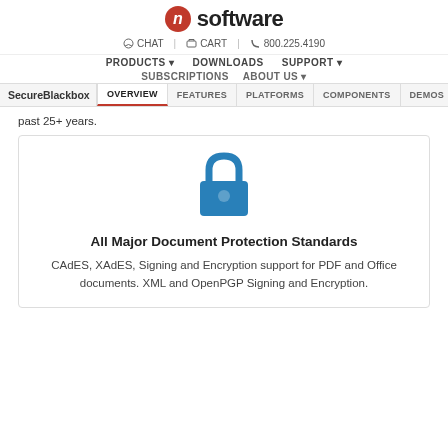n software — CHAT | CART | 800.225.4190
PRODUCTS | DOWNLOADS | SUPPORT | SUBSCRIPTIONS | ABOUT US
SecureBlackbox — OVERVIEW | FEATURES | PLATFORMS | COMPONENTS | DEMOS
past 25+ years.
[Figure (illustration): Blue padlock icon centered in a feature card]
All Major Document Protection Standards
CAdES, XAdES, Signing and Encryption support for PDF and Office documents. XML and OpenPGP Signing and Encryption.